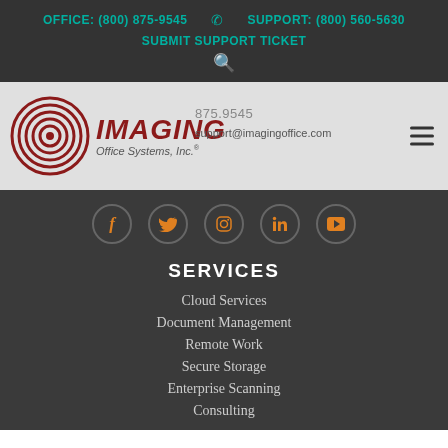OFFICE: (800) 875-9545   SUPPORT: (800) 560-5630
SUBMIT SUPPORT TICKET
[Figure (logo): Imaging Office Systems, Inc. logo with concentric circle graphic and contact details: 875.9545, support@imagingoffice.com]
[Figure (other): Social media icons: Facebook, Twitter, Instagram, LinkedIn, YouTube]
SERVICES
Cloud Services
Document Management
Remote Work
Secure Storage
Enterprise Scanning
Consulting